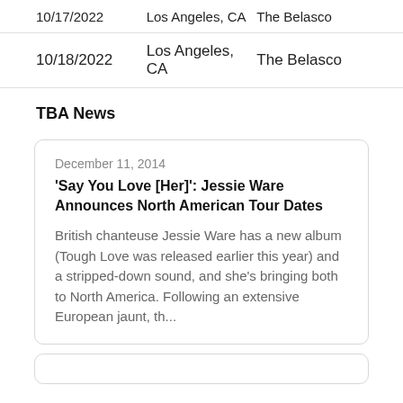| Date | City | Venue |
| --- | --- | --- |
| 10/17/2022 | Los Angeles, CA | The Belasco |
| 10/18/2022 | Los Angeles, CA | The Belasco |
TBA News
December 11, 2014
'Say You Love [Her]': Jessie Ware Announces North American Tour Dates
British chanteuse Jessie Ware has a new album (Tough Love was released earlier this year) and a stripped-down sound, and she's bringing both to North America. Following an extensive European jaunt, th...